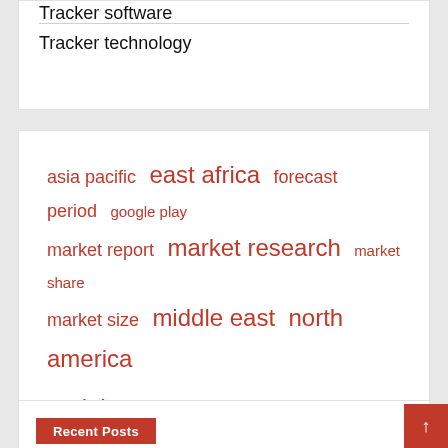Tracker software
Tracker technology
[Figure (infographic): Tag cloud with red-colored tags of varying sizes: asia pacific, east africa, forecast period, google play, market report, market research, market share, market size, middle east, north america, real time, south america, tracker app (largest), tracking app, united states]
Recent Posts